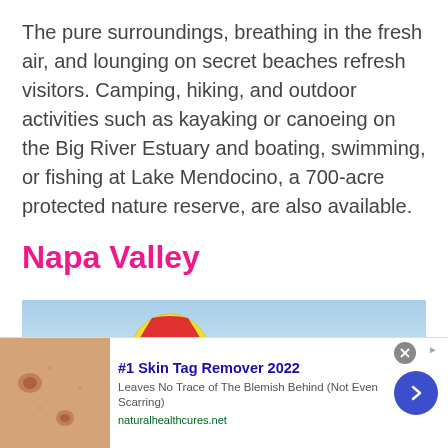The pure surroundings, breathing in the fresh air, and lounging on secret beaches refresh visitors. Camping, hiking, and outdoor activities such as kayaking or canoeing on the Big River Estuary and boating, swimming, or fishing at Lake Mendocino, a 700-acre protected nature reserve, are also available.
Napa Valley
[Figure (photo): Photo of a hot air balloon in a blue sky, partially visible, cropped at the bottom of the section]
[Figure (photo): Advertisement banner: skin image on left, text '#1 Skin Tag Remover 2022 - Leaves No Trace of The Blemish Behind (Not Even Scarring), naturalhealthcures.net', blue arrow button on right]